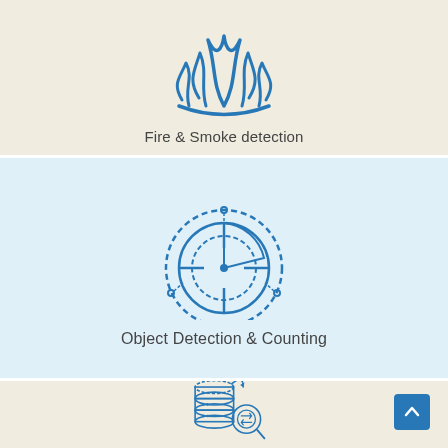[Figure (illustration): Blue line-art icon of fire and smoke flames]
Fire & Smoke detection
[Figure (illustration): Blue line-art icon of a radar/detection circle with crosshairs and dashed rings]
Object Detection & Counting
[Figure (illustration): Blue line-art icon of a database stack with a magnifying glass containing arrows]